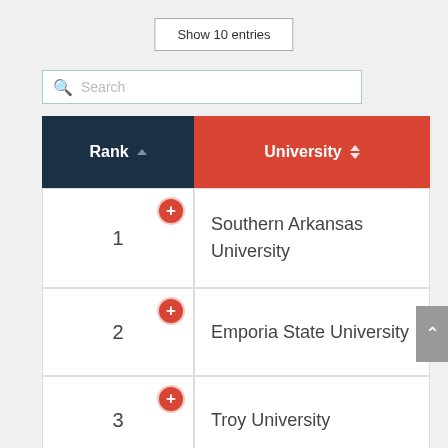Show 10 entries
Search
| Rank | University |
| --- | --- |
| 1 | Southern Arkansas University |
| 2 | Emporia State University |
| 3 | Troy University |
| 4 | Savannah State |